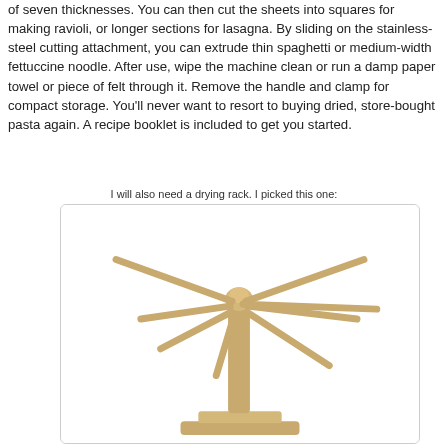of seven thicknesses. You can then cut the sheets into squares for making ravioli, or longer sections for lasagna. By sliding on the stainless-steel cutting attachment, you can extrude thin spaghetti or medium-width fettuccine noodle. After use, wipe the machine clean or run a damp paper towel or piece of felt through it. Remove the handle and clamp for compact storage. You'll never want to resort to buying dried, store-bought pasta again. A recipe booklet is included to get you started.
I will also need a drying rack. I picked this one:
[Figure (photo): A wooden pasta drying rack with multiple arms radiating from a central post, standing on a base.]